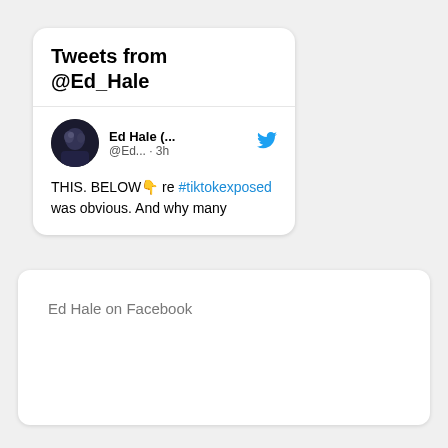Tweets from @Ed_Hale
[Figure (screenshot): Tweet by Ed Hale showing profile picture, handle @Ed... · 3h, with text: THIS. BELOW 👇 re #tiktokexposed was obvious. And why many]
Ed Hale on Facebook